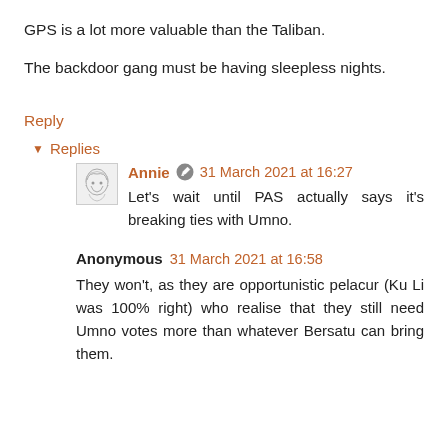GPS is a lot more valuable than the Taliban.
The backdoor gang must be having sleepless nights.
Reply
▾ Replies
Annie 31 March 2021 at 16:27
Let's wait until PAS actually says it's breaking ties with Umno.
Anonymous 31 March 2021 at 16:58
They won't, as they are opportunistic pelacur (Ku Li was 100% right) who realise that they still need Umno votes more than whatever Bersatu can bring them.